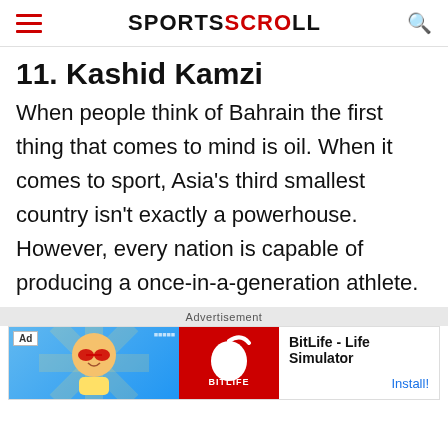SPORTSCROLL
11. Kashid Kamzi
When people think of Bahrain the first thing that comes to mind is oil. When it comes to sport, Asia's third smallest country isn't exactly a powerhouse. However, every nation is capable of producing a once-in-a-generation athlete.
Advertisement
[Figure (other): BitLife - Life Simulator app advertisement banner with Ad label, cartoon character on blue background, red BitLife logo, app name and Install button]